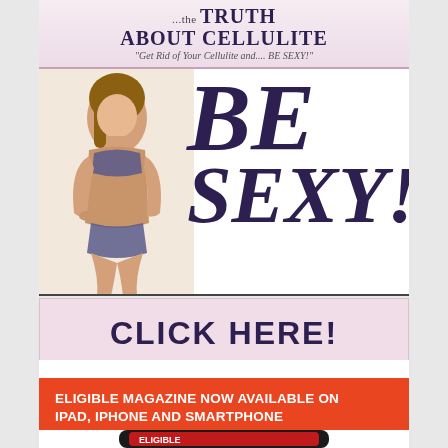[Figure (illustration): Banner ad for 'The Truth About Cellulite' product with decorative border, title text '...the TRUTH ABOUT CELLULITE' and subtitle 'Get Rid of Your Cellulite and.... BE SEXY!']
[Figure (photo): Woman in bikini posing next to large italic bold text reading 'BE SEXY!']
[Figure (illustration): Pink button/banner with text 'CLICK HERE!']
ELIGIBLE MAGAZINE NOW AVAILABLE ON IPAD, IPHONE AND SMARTPHONE
[Figure (photo): Tablet device showing Eligible Magazine cover with woman's face and text '5 BEST PLACES TO FIND...']